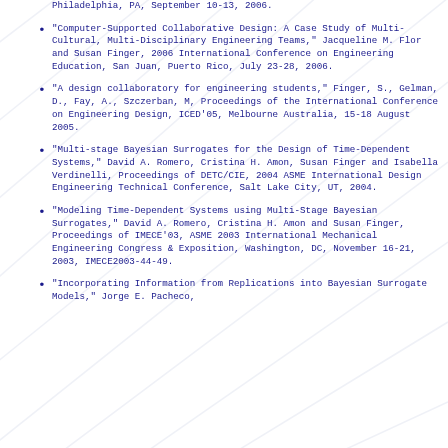Philadelphia, PA, September 10-13, 2006.
“Computer-Supported Collaborative Design: A Case Study of Multi-Cultural, Multi-Disciplinary Engineering Teams,” Jacqueline M. Flor and Susan Finger, 2006 International Conference on Engineering Education, San Juan, Puerto Rico, July 23-28, 2006.
“A design collaboratory for engineering students,” Finger, S., Gelman, D., Fay, A., Szczerban, M, Proceedings of the International Conference on Engineering Design, ICED’05, Melbourne Australia, 15-18 August 2005.
“Multi-stage Bayesian Surrogates for the Design of Time-Dependent Systems,” David A. Romero, Cristina H. Amon, Susan Finger and Isabella Verdinelli, Proceedings of DETC/CIE, 2004 ASME International Design Engineering Technical Conference, Salt Lake City, UT, 2004.
“Modeling Time-Dependent Systems using Multi-Stage Bayesian Surrogates,” David A. Romero, Cristina H. Amon and Susan Finger, Proceedings of IMECE’03, ASME 2003 International Mechanical Engineering Congress & Exposition, Washington, DC, November 16-21, 2003, IMECE2003-44-49.
“Incorporating Information from Replications into Bayesian Surrogate Models,” Jorge E. Pacheco,